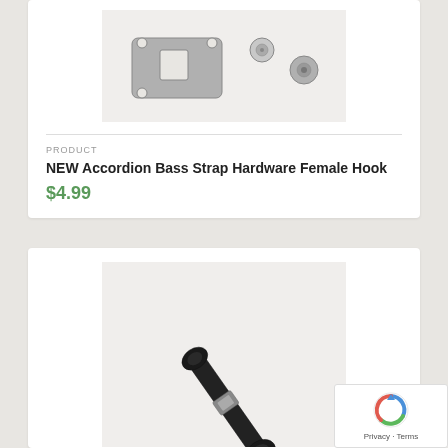[Figure (photo): Metal accordion bass strap hardware female hook plate with snap components on white background]
PRODUCT
NEW Accordion Bass Strap Hardware Female Hook
$4.99
[Figure (photo): Black accordion bass strap hardware handle/hook piece on white background, shown diagonally]